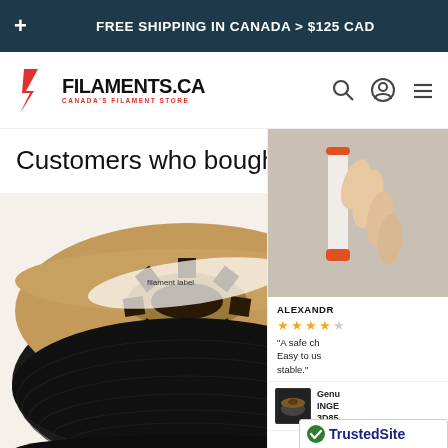FREE SHIPPING IN CANADA > $125 CAD
[Figure (logo): Filaments.ca logo with red chevron icon and tagline 'Canada's Filament Store']
Customers who bought this item also bought
[Figure (photo): Black 3D printing filament spool on a cardboard reel]
[Figure (photo): Product photo on right side showing filament spool with orange cap]
ALEXANDR
"A safe ch Easy to us stable."
Genu INGE 3D85
[Figure (logo): TrustedSite Certified Secure badge]
TrustedSite
CERTIFIED SECURE